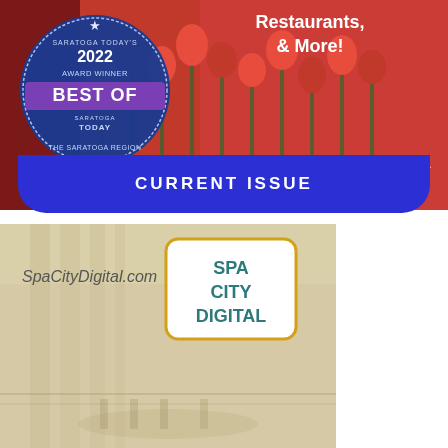[Figure (photo): Top banner showing a magazine cover with red tulips background, a 'Best of 2022 Award Winner - The Saratoga Region - Saratoga Today' circular badge on the left, text 'Restaurants, & More!' on the right, and small logos for 'SPA CITY DIGITAL' and 'SARATOGA TODAY' in the bottom right corner.]
CURRENT ISSUE
[Figure (logo): Spa City Digital advertisement banner with a beige/tan background showing architectural elements, the URL 'SpaCityDigital.com' on the left, and the 'SPA CITY DIGITAL' logo in a yellow/gold rounded rectangle on the right.]